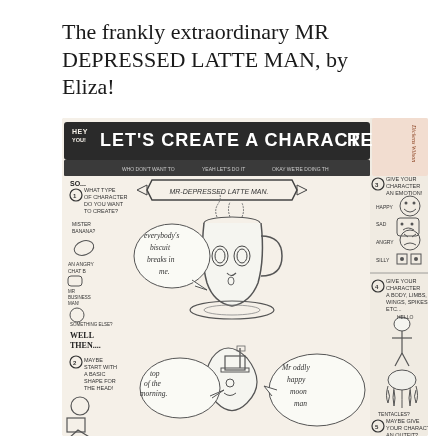The frankly extraordinary MR DEPRESSED LATTE MAN, by Eliza!
[Figure (illustration): A hand-drawn worksheet titled 'Let's Create a Character' showing a student's completed drawing of 'Mr Depressed Latte Man' — a sad-faced coffee cup with a speech bubble saying 'everybody's biscuit breaks in me.' Below are additional character sketches including a crescent moon character with speech bubbles 'top of the morning' and 'Mr oddly happy moon man'. The worksheet has printed instructions on the left and right margins guiding character creation steps.]